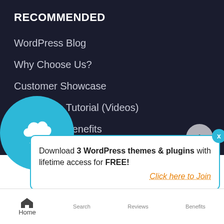RECOMMENDED
WordPress Blog
Why Choose Us?
Customer Showcase
WordPress Tutorial (Videos)
Features & Benefits
Premium WordPress Themes
[Figure (screenshot): Scroll to top circular button with upward chevron arrow]
Download 3 WordPress themes & plugins with lifetime access for FREE!
Click here to Join
[Figure (illustration): Blue circle with cloud download icon (cloud with downward arrow)]
Home  Search  Reviews  Benefits